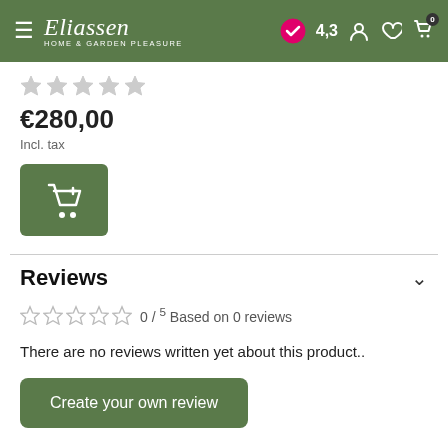Eliassen - Home & Garden Pleasure | Rating 4,3
€280,00
Incl. tax
Reviews
0 / 5  Based on 0 reviews
There are no reviews written yet about this product..
Create your own review
Recently viewed
[Figure (logo): Kiyoh review badge showing score 9,3]